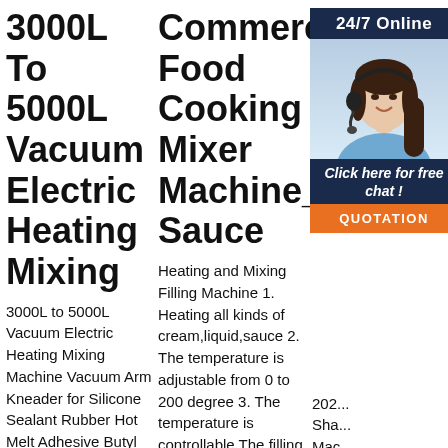3000L To 5000L Vacuum Electric Heating Mixing
3000L to 5000L Vacuum Electric Heating Mixing Machine Vacuum Arm Kneader for Silicone Sealant Rubber Hot Melt Adhesive Butyl Glue Electronic Siliconer Resin. Glue
Commercial Food Cooking Mixer Machine_China Sauce
Heating and Mixing Filling Machine 1. Heating all kinds of cream,liquid,sauce 2. The temperature is adjustable from 0 to 200 degree 3. The temperature is controllable The filling
Beverage Processing Eq... | B...
202... Sha... Mac... esta... and City, China, is a famous professional manufacturer of food processing machines, including popcorn
[Figure (photo): Chat widget overlay showing a woman with headset, 24/7 Online bar, Click here for free chat button, and QUOTATION button in orange]